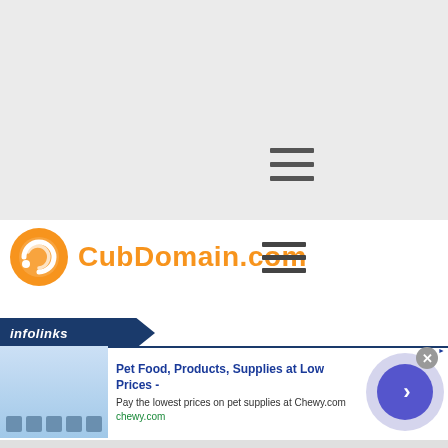[Figure (screenshot): Top gray background area of a web page]
[Figure (logo): CubDomain.com logo with orange circular icon and orange/dark text, plus hamburger menu icon]
[Figure (other): Infolinks banner with advertisement: Pet Food, Products, Supplies at Low Prices - chewy.com, with close button and arrow navigation]
Pet Food, Products, Supplies at Low Prices -
Pay the lowest prices on pet supplies at Chewy.com
chewy.com